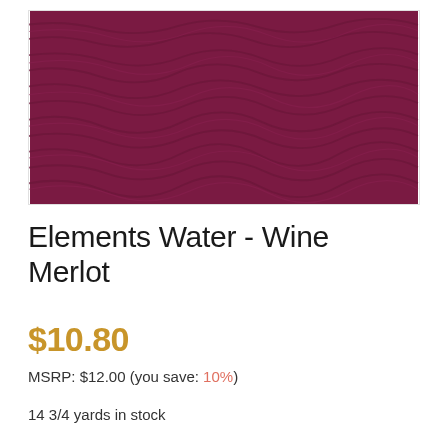[Figure (photo): Deep wine/merlot colored fabric with wavy texture pattern — Elements Water fabric swatch]
Elements Water - Wine Merlot
$10.80
MSRP: $12.00 (you save: 10%)
14 3/4 yards in stock